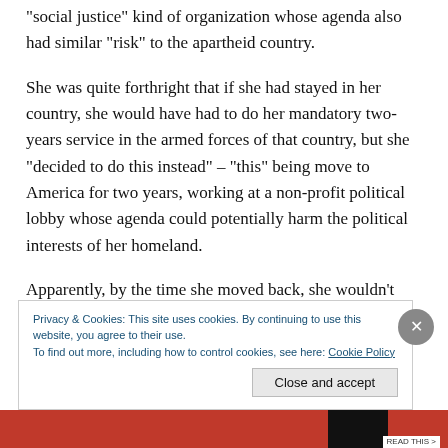“social justice” kind of organization whose agenda also had similar “risk” to the apartheid country.
She was quite forthright that if she had stayed in her country, she would have had to do her mandatory two-years service in the armed forces of that country, but she “decided to do this instead” – “this” being move to America for two years, working at a non-profit political lobby whose agenda could potentially harm the political interests of her homeland.
Apparently, by the time she moved back, she wouldn’t
Privacy & Cookies: This site uses cookies. By continuing to use this website, you agree to their use.
To find out more, including how to control cookies, see here: Cookie Policy
Close and accept